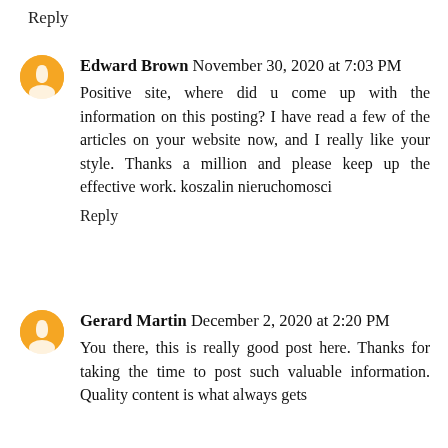Reply
Edward Brown November 30, 2020 at 7:03 PM
Positive site, where did u come up with the information on this posting? I have read a few of the articles on your website now, and I really like your style. Thanks a million and please keep up the effective work. koszalin nieruchomosci
Reply
Gerard Martin December 2, 2020 at 2:20 PM
You there, this is really good post here. Thanks for taking the time to post such valuable information. Quality content is what always gets